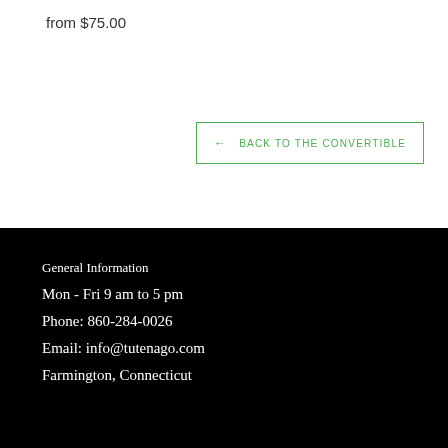from $75.00
← BACK TO THE CONVERTIBLE
General Information
Mon - Fri 9 am to 5 pm
Phone: 860-284-0026
Email: info@tutenago.com
Farmington, Connecticut